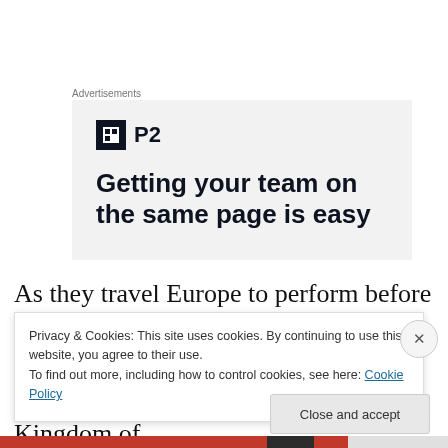Advertisements
[Figure (other): Advertisement banner for P2 product with logo and headline 'Getting your team on the same page is easy']
As they travel Europe to perform before nobles and Emperors, Nannerl and Wolferl amuse themselves by telling stories of a magical world called the Kingdom of
Privacy & Cookies: This site uses cookies. By continuing to use this website, you agree to their use. To find out more, including how to control cookies, see here: Cookie Policy
Close and accept